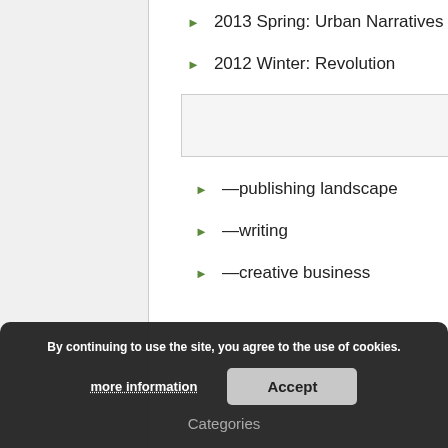2013 Spring: Urban Narratives
2012 Winter: Revolution
Other Categories
—publishing landscape
—writing
—creative business
By continuing to use the site, you agree to the use of cookies.
more information
Accept
Categories